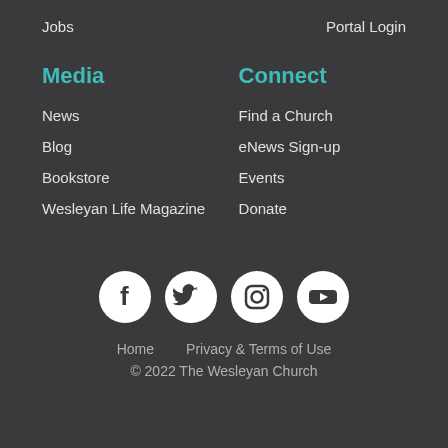Jobs
Portal Login
Media
News
Blog
Bookstore
Wesleyan Life Magazine
Connect
Find a Church
eNews Sign-up
Events
Donate
[Figure (infographic): Social media icons: Facebook, Twitter, Instagram, YouTube — white icons on dark circular backgrounds]
Home   Privacy & Terms of Use
© 2022 The Wesleyan Church